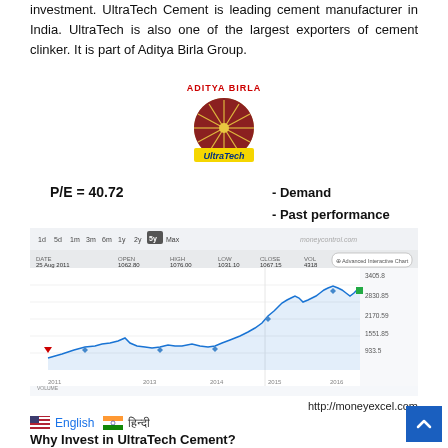investment. UltraTech Cement is leading cement manufacturer in India. UltraTech is also one of the largest exporters of cement clinker. It is part of Aditya Birla Group.
[Figure (logo): Aditya Birla UltraTech Cement logo — red/gold circular emblem with 'ADITYA BIRLA' in red text above and 'UltraTech' on yellow band below]
P/E = 40.72
- Demand
- Past performance
[Figure (line-chart): 5-year stock price chart of UltraTech Cement from moneycontrol.com. Date: 25 Aug 2011, Open: 1062.80, High: 1076.00, Low: 1031.10, Close: 1067.15, Vol: 4318. Price range from ~933.5 to ~3405.8, years 2011–2016 shown on x-axis. Line shows upward trend over period.]
http://moneyexcel.com
English  हिन्दी
Why Invest in UltraTech Cement?